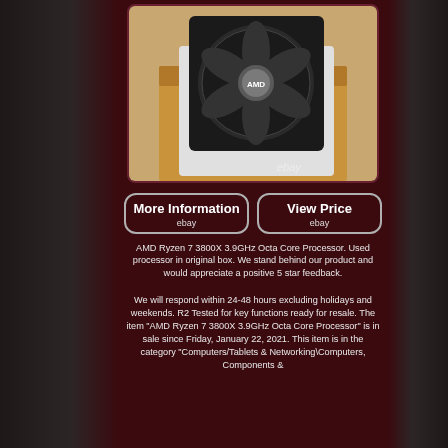[Figure (photo): AMD Ryzen 7 3800X CPU cooler fan in original box, shown in cardboard packaging. Ebay watermark visible at bottom right.]
More Information
ebay
View Price
ebay
AMD Ryzen 7 3800X 3.9GHz Octa Core Processor. Used processor in original box. We stand behind our product and would appreciate a positive 5 star feedback.
We will respond within 24-48 hours excluding holidays and weekends. R2 Tested for key functions ready for resale. The item "AMD Ryzen 7 3800X 3.9GHz Octa Core Processor" is in sale since Friday, January 22, 2021. This item is in the category "Computers/Tablets & Networking\Computers, Components &